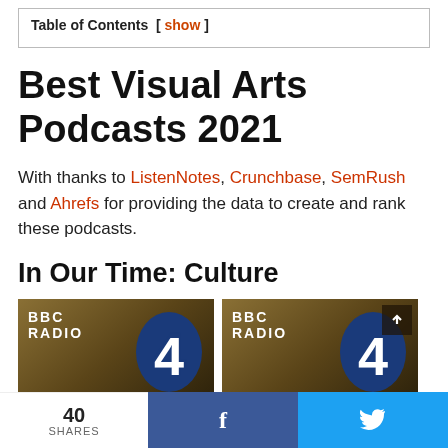| Table of Contents  [ show ] |
Best Visual Arts Podcasts 2021
With thanks to ListenNotes, Crunchbase, SemRush and Ahrefs for providing the data to create and rank these podcasts.
In Our Time: Culture
[Figure (photo): Two BBC Radio 4 podcast cover images side by side showing BBC RADIO 4 logo with blue numeral 4]
40 SHARES  [Facebook share button]  [Twitter share button]